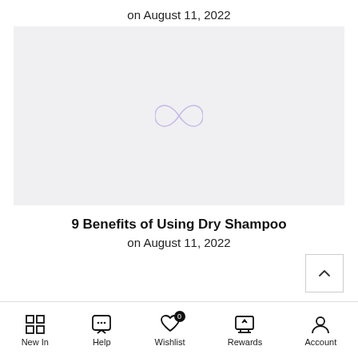on August 11, 2022
[Figure (illustration): Light grey placeholder image with a faint purple/lavender infinity symbol in the center]
9 Benefits of Using Dry Shampoo
on August 11, 2022
New In | Help | Wishlist (0) | Rewards | Account